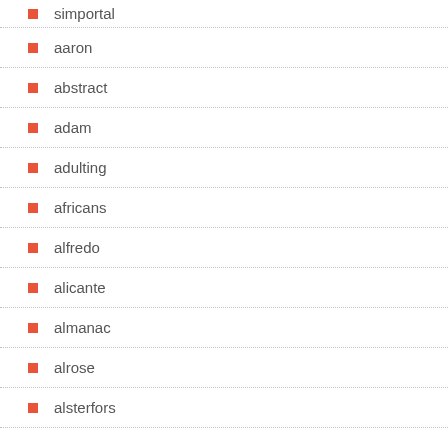simportal
aaron
abstract
adam
adulting
africans
alfredo
alicante
almanac
alrose
alsterfors